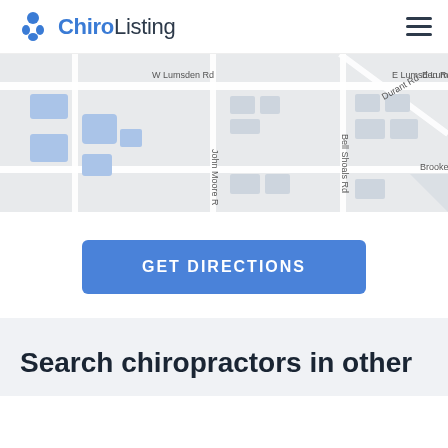ChiroListing
[Figure (map): Street map showing W Lumsden Rd, E Lumsden Rd, E Lums (truncated), Durant Rd, John Moore R (truncated), Bell Shoals Rd, and Brooker Rd in a grid layout. Map shows roads, blocks, and blue water/park areas on the left side.]
GET DIRECTIONS
Search chiropractors in other